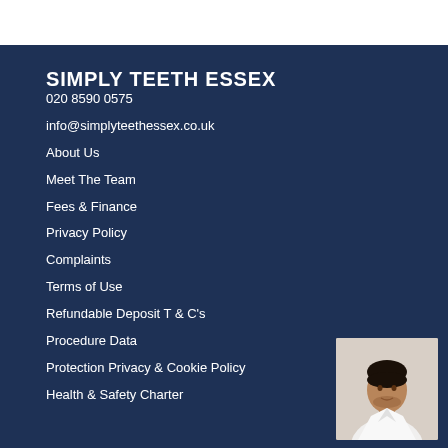SIMPLY TEETH ESSEX
020 8590 0575
info@simplyteethessex.co.uk
About Us
Meet The Team
Fees & Finance
Privacy Policy
Complaints
Terms of Use
Refundable Deposit T & C's
Procedure Data
Protection Privacy & Cookie Policy
Health & Safety Charter
[Figure (photo): Headshot photo of a person in a white shirt against a light background, bottom-right corner]